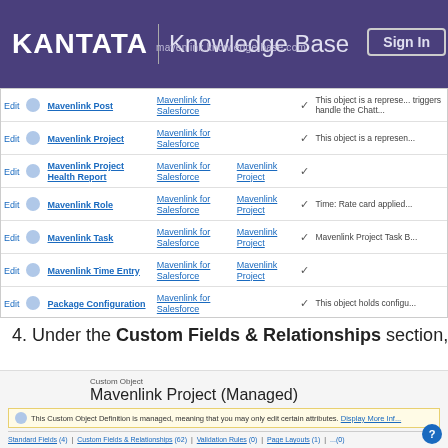KANTATA | Knowledge Base
|  |  | Object Name | Package | Master Object | Deployed | Description |
| --- | --- | --- | --- | --- | --- | --- |
| Edit |  | Mavenlink Post | Mavenlink for Salesforce |  | ✓ | This object is a represe... triggers handle the Chatt... |
| Edit |  | Mavenlink Project | Mavenlink for Salesforce |  | ✓ | This object is a represen... |
| Edit |  | Mavenlink Project Health Report | Mavenlink for Salesforce | Mavenlink Project | ✓ |  |
| Edit |  | Mavenlink Role | Mavenlink for Salesforce | Mavenlink Project | ✓ | Time: Rate card applied... |
| Edit |  | Mavenlink Task | Mavenlink for Salesforce | Mavenlink Project | ✓ | Mavenlink Project Task B... |
| Edit |  | Mavenlink Time Entry | Mavenlink for Salesforce | Mavenlink Project | ✓ |  |
| Edit |  | Package Configuration | Mavenlink for Salesforce |  | ✓ | This object holds configu... |
4. Under the Custom Fields & Relationships section, click N
[Figure (screenshot): Salesforce Custom Object detail page for Mavenlink Project (Managed) showing the object header, managed object notice, and tabs including Standard Fields, Custom Fields & Relationships, Validation Rules, Page Layouts, Record Types, Apex Sharing Reasons.]